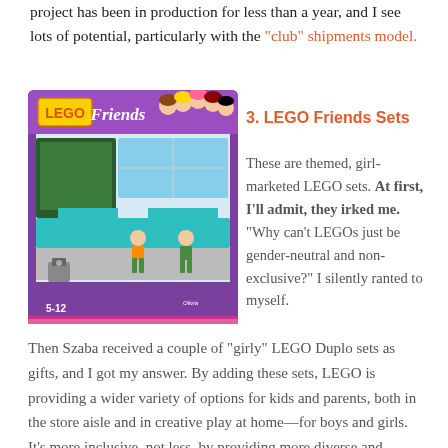project has been in production for less than a year, and I see lots of potential, particularly with the "club" shipments model.
3. LEGO Friends Sets
[Figure (photo): Photo of a LEGO Friends set box showing ages 5-12, with a scene of two girl figures in a science lab setting with teal and pink colors, and the LEGO Friends logo with cartoon girl characters on top.]
These are themed, girl-marketed LEGO sets. At first, I'll admit, they irked me. "Why can't LEGOs just be gender-neutral and non-exclusive?" I silently ranted to myself.
Then Szaba received a couple of "girly" LEGO Duplo sets as gifts, and I got my answer. By adding these sets, LEGO is providing a wider variety of options for kids and parents, both in the store aisle and in creative play at home—for boys and girls. It's more inclusive, not less, by providing more diverse and creative